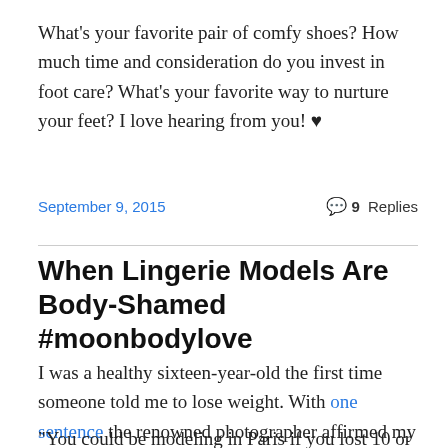What's your favorite pair of comfy shoes? How much time and consideration do you invest in foot care? What's your favorite way to nurture your feet? I love hearing from you! ♥
September 9, 2015
9 Replies
When Lingerie Models Are Body-Shamed #moonbodylove
I was a healthy sixteen-year-old the first time someone told me to lose weight. With one sentence the renowned photographer affirmed my long-held fears that I was destined for fatness and flawed as I was.
"You could be modeling in Paris if you lost 10 or 15